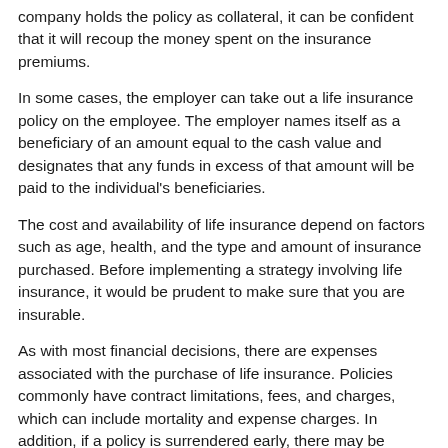company holds the policy as collateral, it can be confident that it will recoup the money spent on the insurance premiums.
In some cases, the employer can take out a life insurance policy on the employee. The employer names itself as a beneficiary of an amount equal to the cash value and designates that any funds in excess of that amount will be paid to the individual's beneficiaries.
The cost and availability of life insurance depend on factors such as age, health, and the type and amount of insurance purchased. Before implementing a strategy involving life insurance, it would be prudent to make sure that you are insurable.
As with most financial decisions, there are expenses associated with the purchase of life insurance. Policies commonly have contract limitations, fees, and charges, which can include mortality and expense charges. In addition, if a policy is surrendered early, there may be surrender charges and income tax obligations.